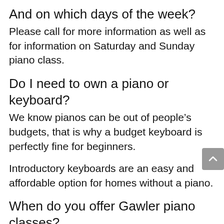And on which days of the week?
Please call for more information as well as for information on Saturday and Sunday piano class.
Do I need to own a piano or keyboard?
We know pianos can be out of people’s budgets, that is why a budget keyboard is perfectly fine for beginners.
Introductory keyboards are an easy and affordable option for homes without a piano.
When do you offer Gawler piano classes?
We typically offer after school lessons, on